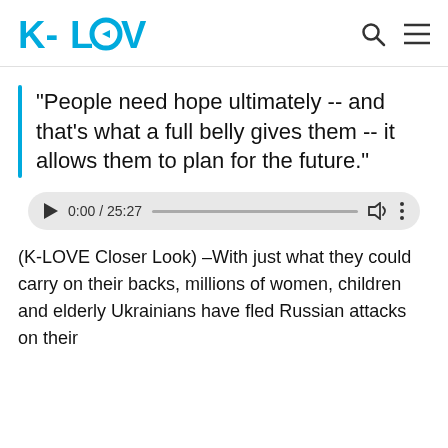K-LOVE
“People need hope ultimately -- and that’s what a full belly gives them -- it allows them to plan for the future.”
[Figure (other): Audio player showing 0:00 / 25:27 with play button, progress bar, volume icon, and more options icon]
(K-LOVE Closer Look) –With just what they could carry on their backs, millions of women, children and elderly Ukrainians have fled Russian attacks on their